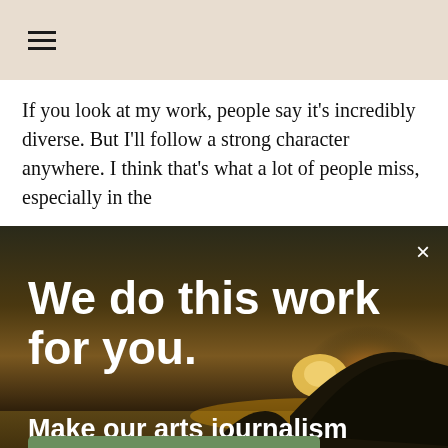[Figure (screenshot): Hamburger menu icon (three horizontal lines) on a beige/tan background navigation bar]
If you look at my work, people say it's incredibly diverse. But I'll follow a strong character anywhere. I think that's what a lot of people miss, especially in the
[Figure (infographic): Advertisement overlay with a sunset/dusk landscape photograph showing a large rock formation and ocean. Large white bold text reads 'We do this work for you.' followed by 'Make our arts journalism possible.' A green 'DONATE TODAY' button is at the bottom. An X close button is at the top right.]